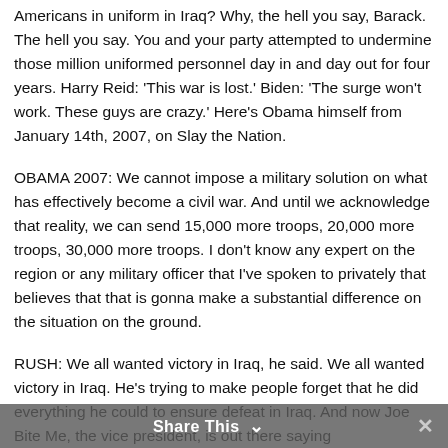Americans in uniform in Iraq? Why, the hell you say, Barack. The hell you say. You and your party attempted to undermine those million uniformed personnel day in and day out for four years. Harry Reid: 'This war is lost.' Biden: 'The surge won't work. These guys are crazy.' Here's Obama himself from January 14th, 2007, on Slay the Nation.
OBAMA 2007: We cannot impose a military solution on what has effectively become a civil war. And until we acknowledge that reality, we can send 15,000 more troops, 20,000 more troops, 30,000 more troops. I don't know any expert on the region or any military officer that I've spoken to privately that believes that that is gonna make a substantial difference on the situation on the ground.
RUSH: We all wanted victory in Iraq, he said. We all wanted victory in Iraq. He's trying to make people forget that he did everything he could to ensure defeat in Iraq. And now Joe Bite Me, the vice president, is out there saying
Share This ∨  ×